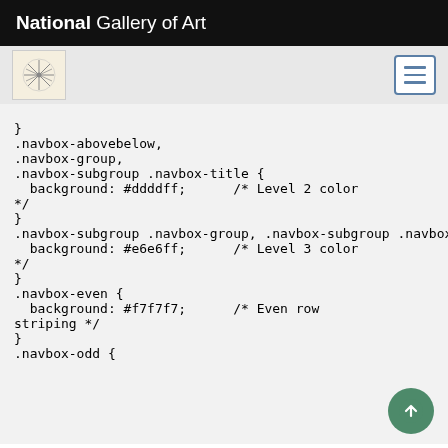National Gallery of Art
[Figure (screenshot): Navigation bar with art icon and hamburger menu button]
}
.navbox-abovebelow,
.navbox-group,
.navbox-subgroup .navbox-title {
  background: #ddddff;      /* Level 2 color
*/
}
.navbox-subgroup .navbox-group, .navbox-subgroup .navbox-abovebelow {
  background: #e6e6ff;      /* Level 3 color
*/
}
.navbox-even {
  background: #f7f7f7;      /* Even row
striping */
}
.navbox-odd {